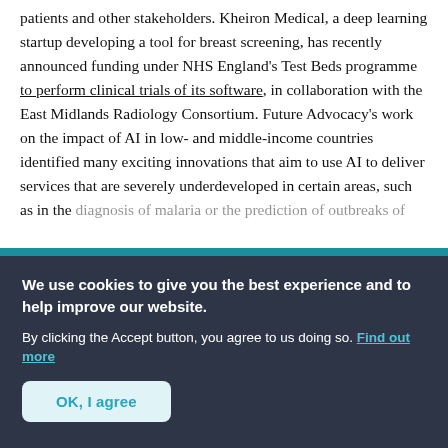patients and other stakeholders. Kheiron Medical, a deep learning startup developing a tool for breast screening, has recently announced funding under NHS England's Test Beds programme to perform clinical trials of its software, in collaboration with the East Midlands Radiology Consortium. Future Advocacy's work on the impact of AI in low- and middle-income countries identified many exciting innovations that aim to use AI to deliver services that are severely underdeveloped in certain areas, such as in the diagnosis of malaria or the prediction of outbreaks of
We use cookies to give you the best experience and to help improve our website. By clicking the Accept button, you agree to us doing so. Find out more